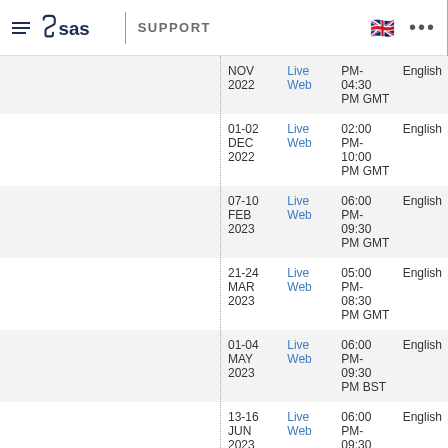SAS SUPPORT
| Date | Type | Time | Language |
| --- | --- | --- | --- |
| NOV 2022 | Live Web | PM-04:30 PM GMT | English |
| 01-02 DEC 2022 | Live Web | 02:00 PM-10:00 PM GMT | English |
| 07-10 FEB 2023 | Live Web | 06:00 PM-09:30 PM GMT | English |
| 21-24 MAR 2023 | Live Web | 05:00 PM-08:30 PM GMT | English |
| 01-04 MAY 2023 | Live Web | 06:00 PM-09:30 PM BST | English |
| 13-16 JUN 2023 | Live Web | 06:00 PM-09:30 PM BST | English |